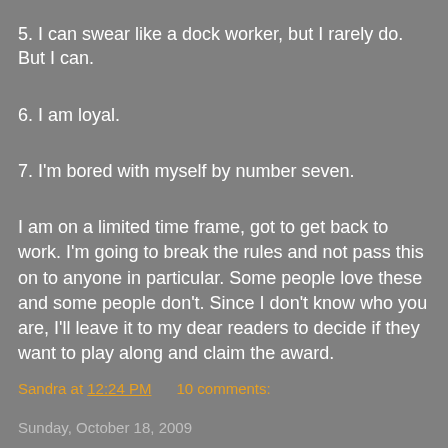5.  I can swear like a dock worker, but I rarely do. But I can.
6.  I am loyal.
7.  I'm bored with myself by number seven.
I am on a limited time frame, got to get back to work.  I'm going to break the rules and not pass this on to anyone in particular. Some people love these and some people don't. Since I don't know who you are, I'll leave it to my dear readers to decide if they want to play along and claim the award.
Sandra at 12:24 PM      10 comments:
Sunday, October 18, 2009